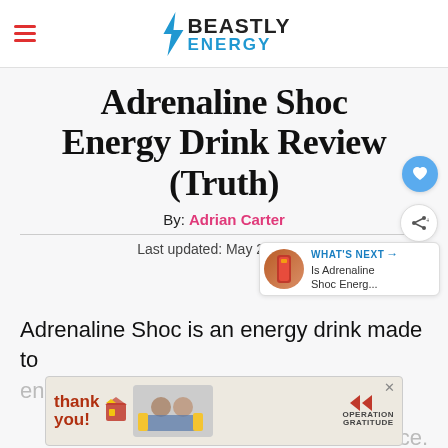Beastly Energy
Adrenaline Shoc Energy Drink Review (Truth)
By: Adrian Carter
Last updated: May 28, 2021
Adrenaline Shoc is an energy drink made to enhance performance. Those
[Figure (photo): Operation Gratitude advertisement banner with 'Thank you!' text and medical workers photo]